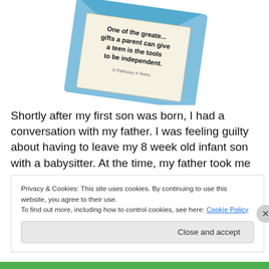[Figure (illustration): Illustrated card/envelope with text: 'One of the greatest gifts a parent can give a teen is the tools to be independent.' with '© Pathways 4 Teens' attribution. Light blue background with envelope graphic.]
Shortly after my first son was born, I had a conversation with my father. I was feeling guilty about having to leave my 8 week old infant son with a babysitter. At the time, my father took me aside. He told me that while this may be a
Privacy & Cookies: This site uses cookies. By continuing to use this website, you agree to their use.
To find out more, including how to control cookies, see here: Cookie Policy